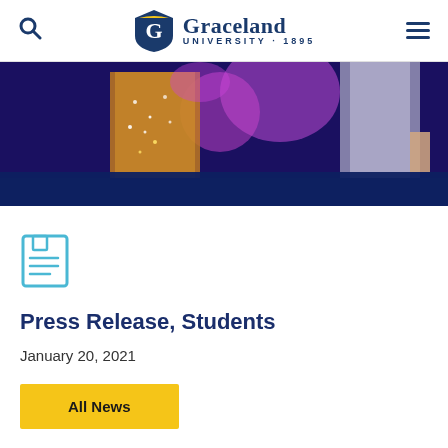Graceland University 1895
[Figure (photo): Partial view of a performance event with colorful stage lighting, featuring performers in glittery/sheer costumes on a dark stage with purple and pink lights]
[Figure (illustration): News/press release icon: a newspaper-style icon with lines representing text, rendered in light blue outline style]
Press Release, Students
January 20, 2021
All News